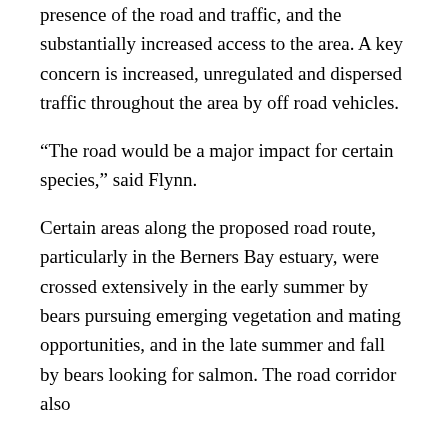presence of the road and traffic, and the substantially increased access to the area. A key concern is increased, unregulated and dispersed traffic throughout the area by off road vehicles.
“The road would be a major impact for certain species,” said Flynn.
Certain areas along the proposed road route, particularly in the Berners Bay estuary, were crossed extensively in the early summer by bears pursuing emerging vegetation and mating opportunities, and in the late summer and fall by bears looking for salmon. The road corridor also